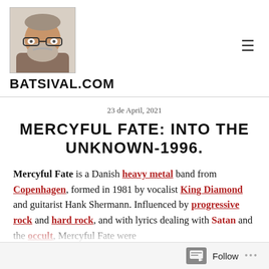BATSIVAL.COM
23 de April, 2021
MERCYFUL FATE: INTO THE UNKNOWN-1996.
Mercyful Fate is a Danish heavy metal band from Copenhagen, formed in 1981 by vocalist King Diamond and guitarist Hank Shermann. Influenced by progressive rock and hard rock, and with lyrics dealing with Satan and the occult, Mercyful Fate were...